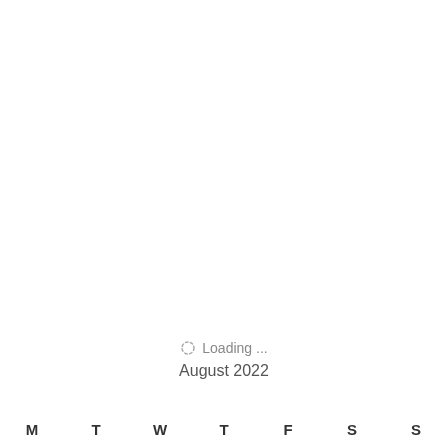Loading ...
August 2022
M  T  W  T  F  S  S